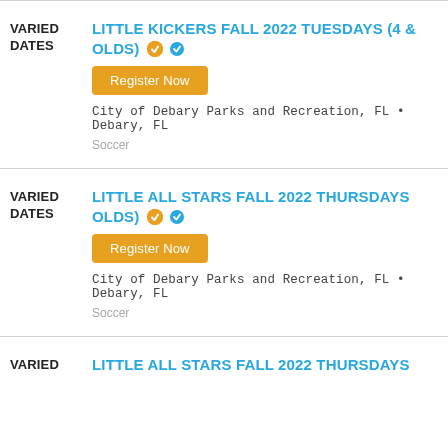VARIED DATES | LITTLE KICKERS FALL 2022 TUESDAYS (4 & OLDS) | Register Now | City of Debary Parks and Recreation, FL • Debary, FL | Soccer
VARIED DATES | LITTLE ALL STARS FALL 2022 THURSDAYS OLDS) | Register Now | City of Debary Parks and Recreation, FL • Debary, FL | Soccer
VARIED | LITTLE ALL STARS FALL 2022 THURSDAYS